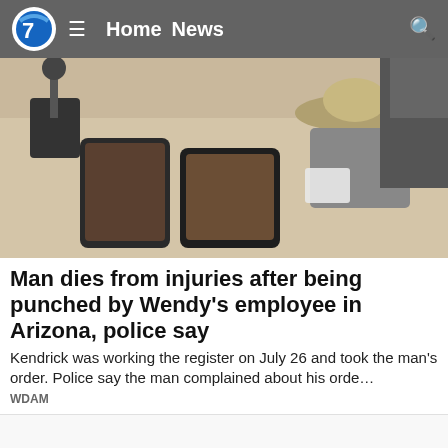Home  News
[Figure (photo): Overhead surveillance camera view of a counter with items on it and a person wearing a wide-brimmed hat.]
Man dies from injuries after being punched by Wendy's employee in Arizona, police say
Kendrick was working the register on July 26 and took the man's order. Police say the man complained about his orde…
WDAM
[Figure (photo): Photo of an electric dirt bike / motorcycle with orange frame, red tail lights, and knobby tires, on a white background.]